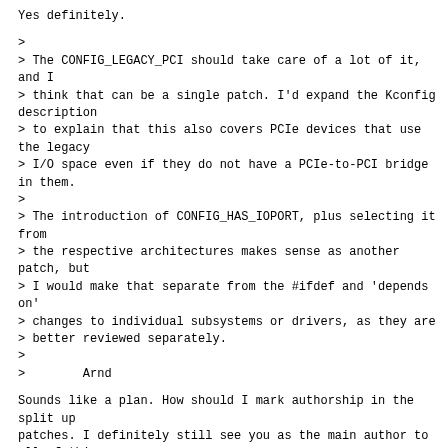Yes definitely.
>
> The CONFIG_LEGACY_PCI should take care of a lot of it, and I
> think that can be a single patch. I'd expand the Kconfig description
> to explain that this also covers PCIe devices that use the legacy
> I/O space even if they do not have a PCIe-to-PCI bridge in them.
>
> The introduction of CONFIG_HAS_IOPORT, plus selecting it from
> the respective architectures makes sense as another patch, but
> I would make that separate from the #ifdef and 'depends on'
> changes to individual subsystems or drivers, as they are
> better reviewed separately.
>
>        Arnd
Sounds like a plan. How should I mark authorship in the split up
patches. I definitely still see you as the main author to all of this
but of course I'll have to do quite a bit of editing